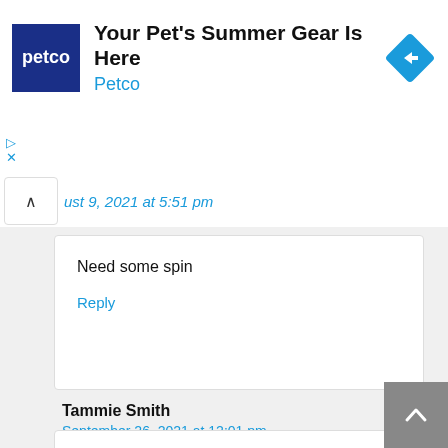[Figure (screenshot): Petco advertisement banner with Petco logo and navigation arrow icon]
Your Pet's Summer Gear Is Here
Petco
ust 9, 2021 at 5:51 pm
Need some spin
Reply
Tammie Smith
September 26, 2021 at 12:01 pm
I love this game!
Reply